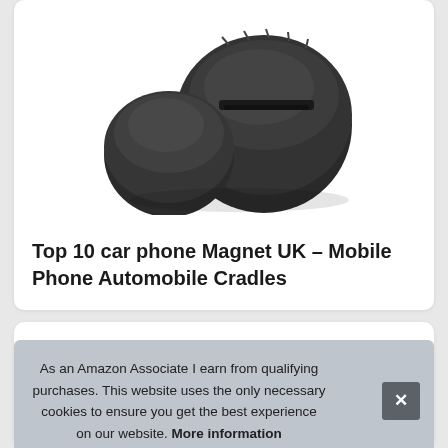[Figure (photo): A black magnetic car phone mount/holder product shot on white background, showing two round disc pieces with ridged edges.]
Top 10 car phone Magnet UK – Mobile Phone Automobile Cradles
As an Amazon Associate I earn from qualifying purchases. This website uses the only necessary cookies to ensure you get the best experience on our website. More information